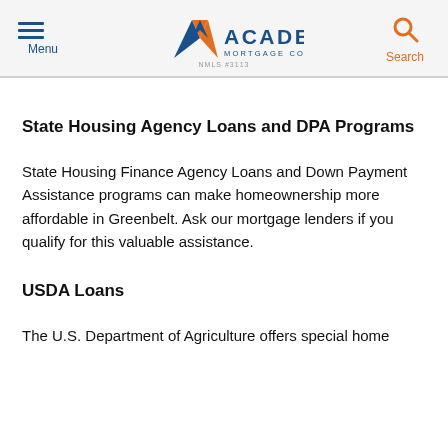Menu | Academy Mortgage Corporation NMLS #3113 | Search
State Housing Agency Loans and DPA Programs
State Housing Finance Agency Loans and Down Payment Assistance programs can make homeownership more affordable in Greenbelt. Ask our mortgage lenders if you qualify for this valuable assistance.
USDA Loans
The U.S. Department of Agriculture offers special home